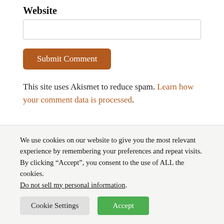Website
Submit Comment
This site uses Akismet to reduce spam. Learn how your comment data is processed.
SEARCH ONLINE FOR MORE DIVING
We use cookies on our website to give you the most relevant experience by remembering your preferences and repeat visits. By clicking “Accept”, you consent to the use of ALL the cookies.
Do not sell my personal information.
Cookie Settings  Accept